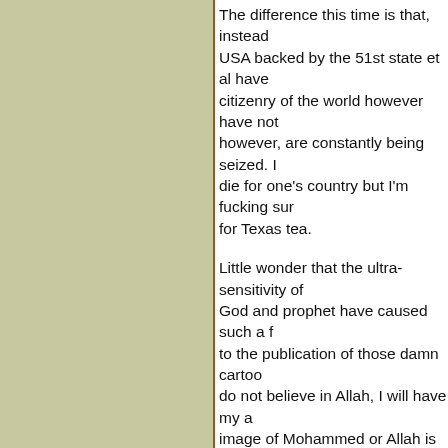[Figure (other): Left panel with olive/tan background color, bordered on right with brown vertical line]
The difference this time is that, instead of the USA backed by the 51st state et al have not the citizenry of the world however have not however, are constantly being seized. It die for one's country but I'm fucking sur for Texas tea.

Little wonder that the ultra-sensitivity of God and prophet have caused such a f to the publication of those damn cartoo do not believe in Allah, I will have my a image of Mohammed or Allah is an insu that I am expected to believe that Jesu Catholic dogma has been right all along satanic equivalent gets hold of me.

The dreaded order from any editor to a morning to take to the streets and canv embarrassment levels of approaching s me to having teeth extracted without an than befell a colleague and myself in th Derry is not a place that people take we men. The reasons for this are obvious. motives.

As ever some people simply did not hav Some did talk, but did not want to have may visit their own front doors. Despite not operating in Derry City centre, nothi